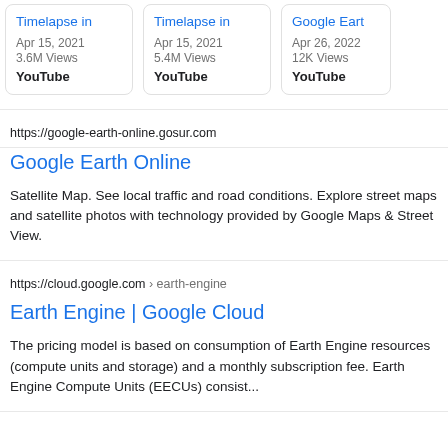Timelapse in
Apr 15, 2021
3.6M Views
YouTube
Timelapse in
Apr 15, 2021
5.4M Views
YouTube
Google Eart...
Apr 26, 2022
12K Views
YouTube
https://google-earth-online.gosur.com
Google Earth Online
Satellite Map. See local traffic and road conditions. Explore street maps and satellite photos with technology provided by Google Maps & Street View.
https://cloud.google.com › earth-engine
Earth Engine | Google Cloud
The pricing model is based on consumption of Earth Engine resources (compute units and storage) and a monthly subscription fee. Earth Engine Compute Units (EECUs) consist...